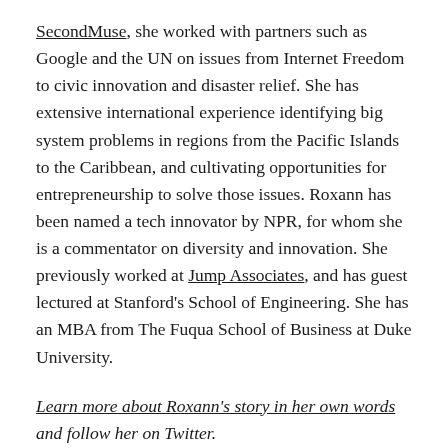SecondMuse, she worked with partners such as Google and the UN on issues from Internet Freedom to civic innovation and disaster relief. She has extensive international experience identifying big system problems in regions from the Pacific Islands to the Caribbean, and cultivating opportunities for entrepreneurship to solve those issues. Roxann has been named a tech innovator by NPR, for whom she is a commentator on diversity and innovation. She previously worked at Jump Associates, and has guest lectured at Stanford's School of Engineering. She has an MBA from The Fuqua School of Business at Duke University.
Learn more about Roxann's story in her own words and follow her on Twitter.